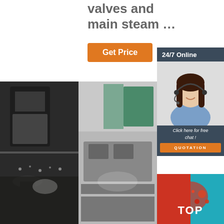valves and main steam ...
Get Price
24/7 Online
[Figure (photo): Customer service representative with headset, smiling]
Click here for free chat !
QUOTATION
[Figure (photo): Two industrial factory floor photos side by side showing manufacturing equipment and machinery]
[Figure (photo): Bottom right corner logo/branding with TOP text on colorful background]